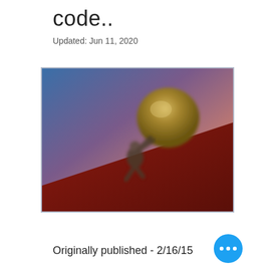code..
Updated: Jun 11, 2020
[Figure (illustration): Illustration of a figure (Sisyphus) pushing a large golden boulder up a steep dark red hill against a blue-to-orange gradient sky background.]
Originally published - 2/16/15